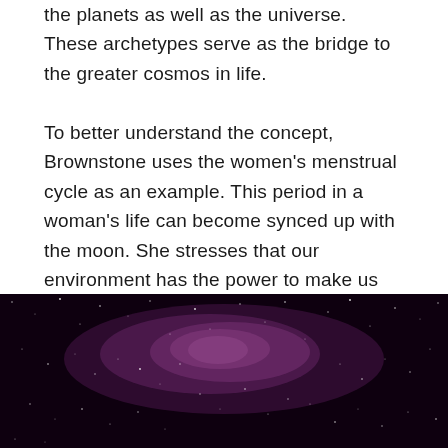the planets as well as the universe. These archetypes serve as the bridge to the greater cosmos in life.
To better understand the concept, Brownstone uses the women's menstrual cycle as an example. This period in a woman's life can become synced up with the moon. She stresses that our environment has the power to make us feel the physical effects. Take for instance the sun, it has the power to make plants grow, to change the color of our skin, and can even affect people psychologically. The same logic work with the moon and the other planets.
[Figure (photo): A dark space/galaxy photograph showing a starfield with a purple-pink nebula glow in the center against a dark background.]